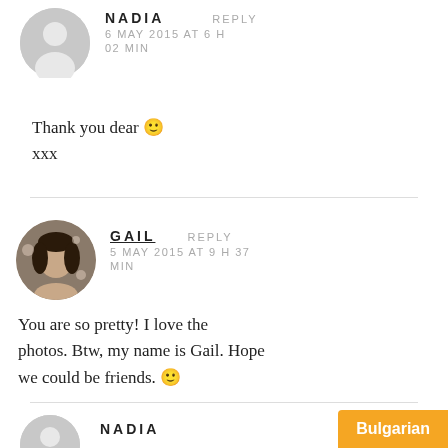[Figure (photo): Gray placeholder avatar circle for Nadia]
NADIA    REPLY
6 MAY 2015 AT 6 H 02 MIN
Thank you dear 🙂
xxx
[Figure (photo): Round profile photo of Gail, woman with floral background]
GAIL    REPLY
5 MAY 2015 AT 9 H 37 MIN
You are so pretty! I love the photos. Btw, my name is Gail. Hope we could be friends. 🙂
[Figure (photo): Gray placeholder avatar circle for Nadia (second comment)]
NADIA
Bulgarian